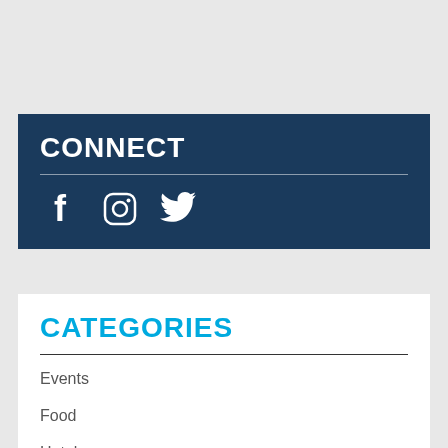CONNECT
[Figure (infographic): Social media icons: Facebook (f), Instagram (camera), Twitter (bird)]
CATEGORIES
Events
Food
Hotels